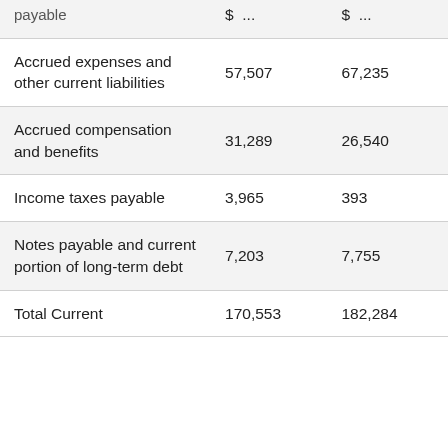|  | Col1 | Col2 |
| --- | --- | --- |
| payable | $ ... | $ ... |
| Accrued expenses and other current liabilities | 57,507 | 67,235 |
| Accrued compensation and benefits | 31,289 | 26,540 |
| Income taxes payable | 3,965 | 393 |
| Notes payable and current portion of long-term debt | 7,203 | 7,755 |
| Total Current | 170,553 | 182,284 |